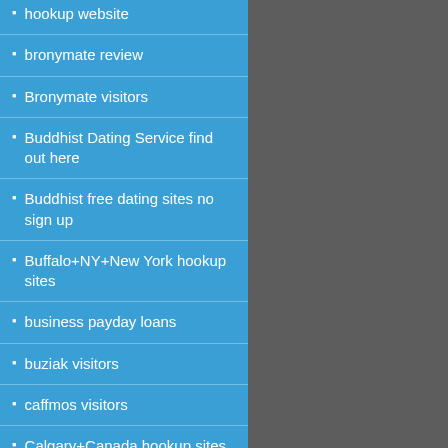hookup website
bronymate review
Bronymate visitors
Buddhist Dating Service find out here
Buddhist free dating sites no sign up
Buffalo+NY+New York hookup sites
business payday loans
buziak visitors
caffmos visitors
Calgary+Canada hookup sites
Cambridge+MA+Massachusetts hookup sites